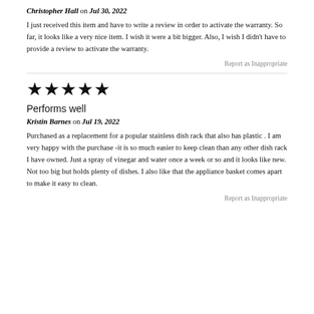Christopher Hall on Jul 30, 2022
I just received this item and have to write a review in order to activate the warranty. So far, it looks like a very nice item. I wish it were a bit bigger. Also, I wish I didn't have to provide a review to activate the warranty.
Report as Inappropriate
★★★★★
Performs well
Kristin Barnes on Jul 19, 2022
Purchased as a replacement for a popular stainless dish rack that also has plastic . I am very happy with the purchase -it is so much easier to keep clean than any other dish rack I have owned. Just a spray of vinegar and water once a week or so and it looks like new. Not too big but holds plenty of dishes. I also like that the appliance basket comes apart to make it easy to clean.
Report as Inappropriate